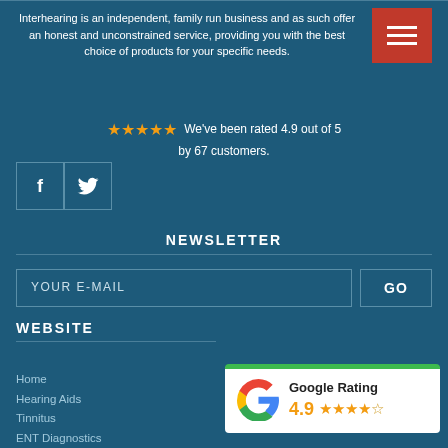Interhearing is an independent, family run business and as such offer an honest and unconstrained service, providing you with the best choice of products for your specific needs.
[Figure (infographic): Red hamburger menu button with three white horizontal lines]
★★★★★ We've been rated 4.9 out of 5 by 67 customers.
[Figure (infographic): Social media icons: Facebook (f) and Twitter (bird) in bordered square boxes]
NEWSLETTER
YOUR E-MAIL
GO
WEBSITE
Home
Hearing Aids
Tinnitus
ENT Diagnostics
Shop
Hearing Protection
[Figure (infographic): Google Rating badge with Google G logo, score 4.9, and 4.5 orange stars out of 5, white background with green top border]